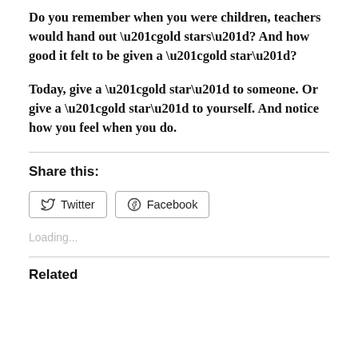Do you remember when you were children, teachers would hand out “gold stars”?  And how good it felt to be given a “gold star”?
Today, give a “gold star” to someone.  Or give a “gold star” to yourself.  And notice how you feel when you do.
Share this:
Loading...
Related